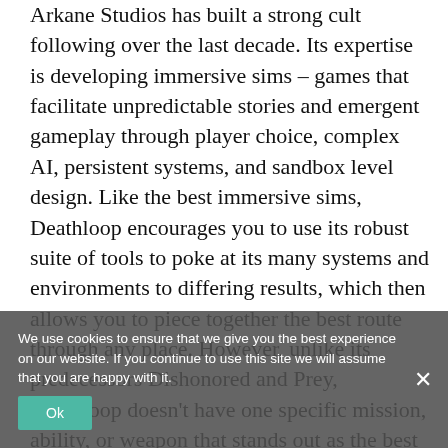Arkane Studios has built a strong cult following over the last decade. Its expertise is developing immersive sims – games that facilitate unpredictable stories and emergent gameplay through player choice, complex AI, persistent systems, and sandbox level design. Like the best immersive sims, Deathloop encourages you to use its robust suite of tools to poke at its many systems and environments to differing results, which then allows you to piece together the best route through any place. However, unlike its predecessors Dishonored and Prey, Deathloop doesn't have one specific mission, ability, or weapon that stands out as the best part of the adventure. Instead, it showcases how a game's many elements can interact with one another to create a truly unique experience. Specifically, the game's level design and time of day system work together to create a setting that invites exploration and houses adaptive characters to provide consequences to player actions. Add in a consistent ruleset and shared
We use cookies to ensure that we give you the best experience on our website. If you continue to use this site we will assume that you are happy with it.